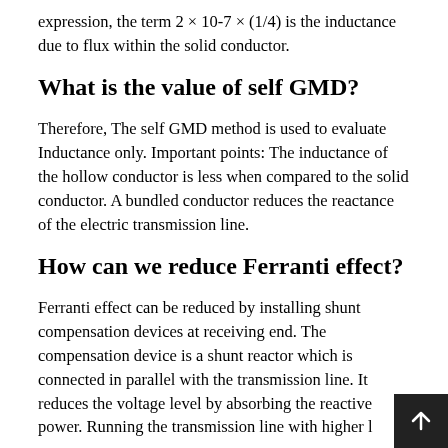expression, the term 2 × 10-7 × (1/4) is the inductance due to flux within the solid conductor.
What is the value of self GMD?
Therefore, The self GMD method is used to evaluate Inductance only. Important points: The inductance of the hollow conductor is less when compared to the solid conductor. A bundled conductor reduces the reactance of the electric transmission line.
How can we reduce Ferranti effect?
Ferranti effect can be reduced by installing shunt compensation devices at receiving end. The compensation device is a shunt reactor which is connected in parallel with the transmission line. It reduces the voltage level by absorbing the reactive power. Running the transmission line with higher l